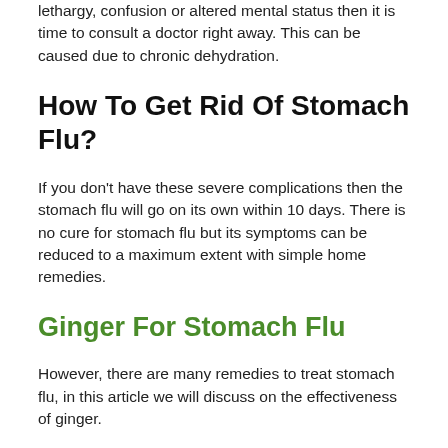lethargy, confusion or altered mental status then it is time to consult a doctor right away. This can be caused due to chronic dehydration.
How To Get Rid Of Stomach Flu?
If you don’t have these severe complications then the stomach flu will go on its own within 10 days. There is no cure for stomach flu but its symptoms can be reduced to a maximum extent with simple home remedies.
Ginger For Stomach Flu
However, there are many remedies to treat stomach flu, in this article we will discuss on the effectiveness of ginger.
Is Ginger Good for Stomach Flu?
Benefits Of Ginger For Stomach Flu Treatment: